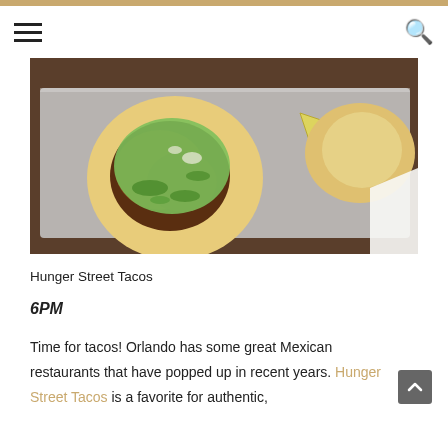Navigation bar with hamburger menu and search icon
[Figure (photo): Overhead view of tacos on a metal tray, featuring a taco with green avocado sauce and cilantro on a corn tortilla, with a lime wedge and another taco visible beside it on a dark wooden surface.]
Hunger Street Tacos
6PM
Time for tacos! Orlando has some great Mexican restaurants that have popped up in recent years. Hunger Street Tacos is a favorite for authentic,